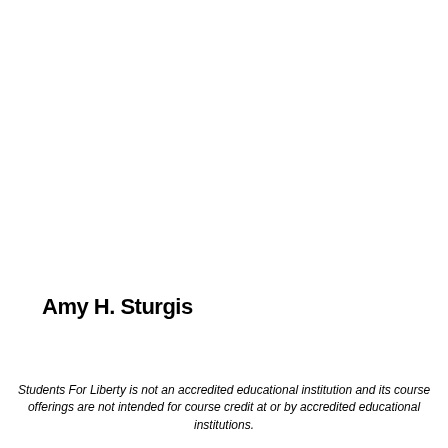Amy H. Sturgis
Students For Liberty is not an accredited educational institution and its course offerings are not intended for course credit at or by accredited educational institutions.